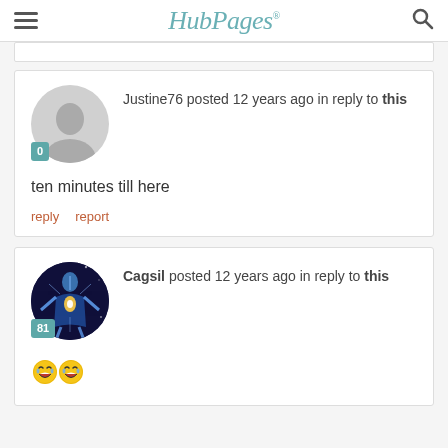HubPages
Justine76 posted 12 years ago in reply to this
ten minutes till here
reply   report
Cagsil posted 12 years ago in reply to this
[Figure (illustration): Two laughing emoji faces side by side]